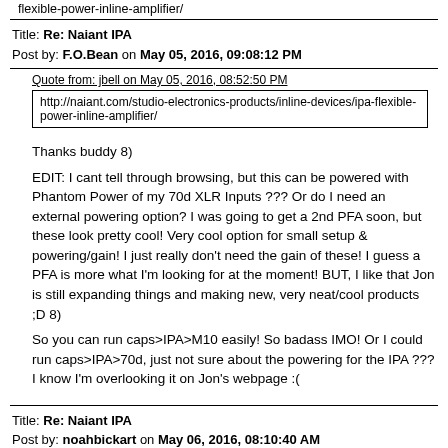flexible-power-inline-amplifier/
Title: Re: Naiant IPA
Post by: F.O.Bean on May 05, 2016, 09:08:12 PM
Quote from: jbell on May 05, 2016, 08:52:50 PM
http://naiant.com/studio-electronics-products/inline-devices/ipa-flexible-power-inline-amplifier/
Thanks buddy 8)
EDIT: I cant tell through browsing, but this can be powered with Phantom Power of my 70d XLR Inputs ??? Or do I need an external powering option? I was going to get a 2nd PFA soon, but these look pretty cool! Very cool option for small setup & powering/gain! I just really don't need the gain of these! I guess a PFA is more what I'm looking for at the moment! BUT, I like that Jon is still expanding things and making new, very neat/cool products ;D 8)
So you can run caps>IPA>M10 easily! So badass IMO! Or I could run caps>IPA>70d, just not sure about the powering for the IPA ??? I know I'm overlooking it on Jon's webpage :(
Title: Re: Naiant IPA
Post by: noahbickart on May 06, 2016, 08:10:40 AM
Bean, read the above webpage: